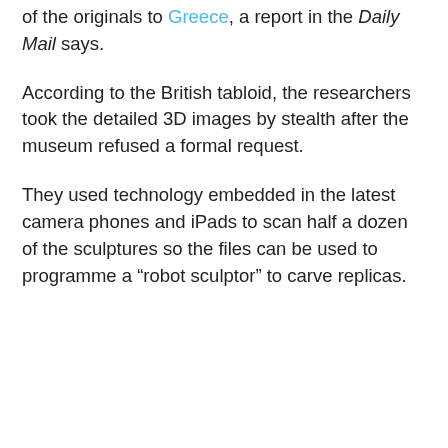of the originals to Greece, a report in the Daily Mail says.
According to the British tabloid, the researchers took the detailed 3D images by stealth after the museum refused a formal request.
They used technology embedded in the latest camera phones and iPads to scan half a dozen of the sculptures so the files can be used to programme a “robot sculptor” to carve replicas.